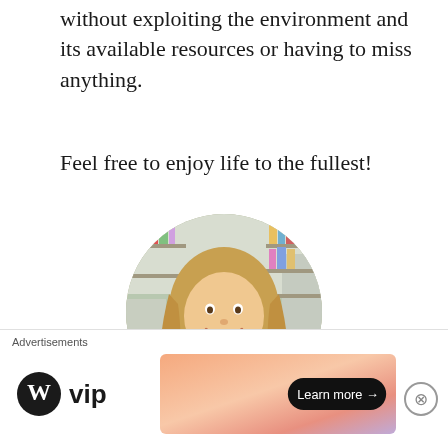without exploiting the environment and its available resources or having to miss anything.
Feel free to enjoy life to the fullest!
[Figure (photo): Circular portrait photo of a young blonde woman smiling and holding a mug in a bright room with shelves in the background]
Guest Blogger: Julia
Check out Julia's Blog: www.zeitistrelativ.com
Advertisements
[Figure (logo): WordPress.com VIP logo on the left side of advertisement banner]
[Figure (infographic): Gradient orange-pink advertisement banner with a 'Learn more →' button]